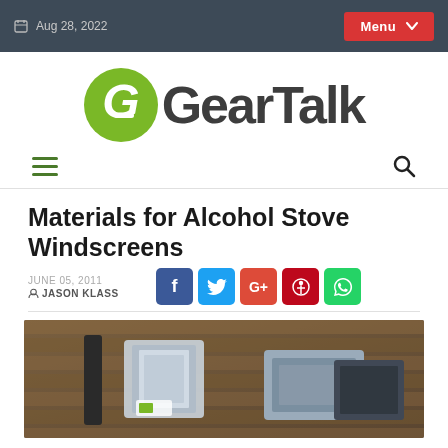Aug 28, 2022  Menu
[Figure (logo): GearTalk logo — green circle with stylized G and 'GearTalk' text in dark gray]
[Figure (infographic): Navigation bar with hamburger menu icon (green) and search icon (dark)]
Materials for Alcohol Stove Windscreens
JUNE 05, 2011  JASON KLASS
[Figure (photo): Photo of metallic windscreen materials on a wooden surface, including rolled foil and packaged material]
Social share buttons: Facebook, Twitter, Google+, Pinterest, WhatsApp